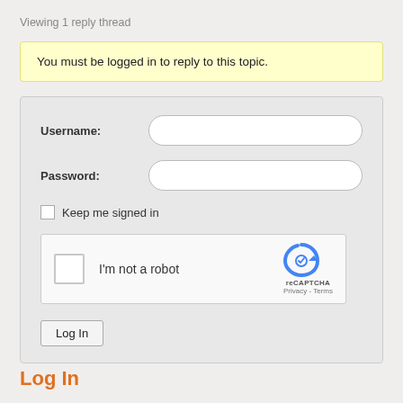Viewing 1 reply thread
You must be logged in to reply to this topic.
Username:
Password:
Keep me signed in
[Figure (other): reCAPTCHA widget with checkbox labeled I'm not a robot and reCAPTCHA logo with Privacy - Terms links]
Log In
Log In